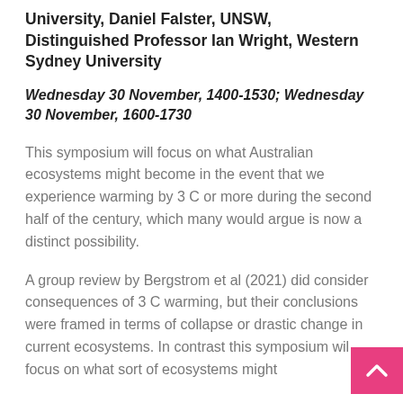University, Daniel Falster, UNSW, Distinguished Professor Ian Wright, Western Sydney University
Wednesday 30 November, 1400-1530; Wednesday 30 November, 1600-1730
This symposium will focus on what Australian ecosystems might become in the event that we experience warming by 3 C or more during the second half of the century, which many would argue is now a distinct possibility.
A group review by Bergstrom et al (2021) did consider consequences of 3 C warming, but their conclusions were framed in terms of collapse or drastic change in current ecosystems. In contrast this symposium will focus on what sort of ecosystems might